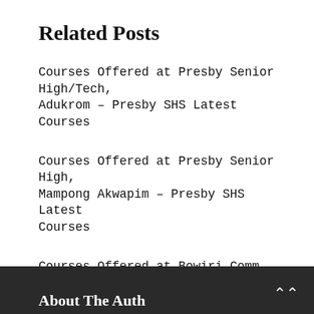Related Posts
Courses Offered at Presby Senior High/Tech, Adukrom – Presby SHS Latest Courses
Courses Offered at Presby Senior High, Mampong Akwapim – Presby SHS Latest Courses
Courses Offered at Bowiri Comm. Day Senior High School – Bowiri Comm. Day SHS Latest Courses
About The Auth…